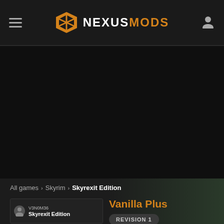NEXUSMODS
[Figure (screenshot): Dark background area representing a game screenshot or banner image]
All games > Skyrim > Skyrexit Edition
[Figure (illustration): Mod thumbnail showing V3N0M36 Skyrexit Edition avatar and mod card]
Vanilla Plus
REVISION 1